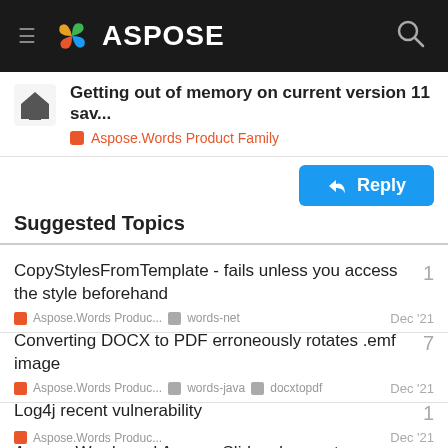ASPOSE
Getting out of memory on current version 11 sav...
Aspose.Words Product Family
Reply
Suggested Topics
CopyStylesFromTemplate - fails unless you access the style beforehand
Aspose.Words Produc... | words-net | Dec '21 | 1
Converting DOCX to PDF erroneously rotates .emf image
Aspose.Words Produc... | words-java | docxtopdf | Dec '21 | 7
Log4j recent vulnerability
Aspose.Words Produc... | Dec '21 | 1
Aspose.Words and Aspose.Slides does not | 16